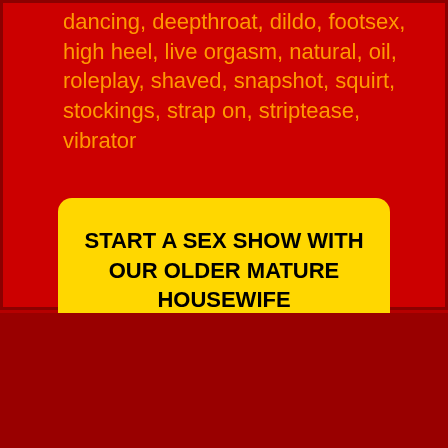dancing, deepthroat, dildo, footsex, high heel, live orgasm, natural, oil, roleplay, shaved, snapshot, squirt, stockings, strap on, striptease, vibrator
START A SEX SHOW WITH OUR OLDER MATURE HOUSEWIFE ISABELLSOFIA LIVE ON CAM
There's no sexual need that can't be best satisfied by a mature